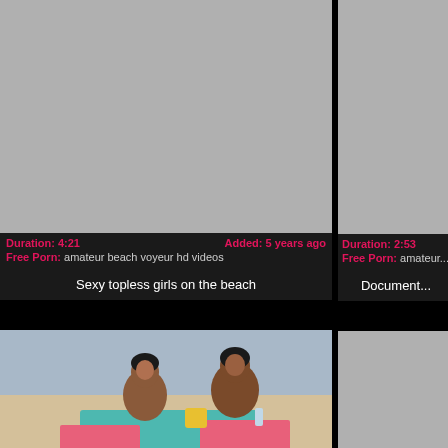[Figure (screenshot): Video thumbnail placeholder (gray rectangle) for first video]
Duration: 4:21   Added: 5 years ago
Free Porn: amateur beach voyeur hd videos
Sexy topless girls on the beach
[Figure (photo): Two topless women on a beach lying on towels]
[Figure (screenshot): Video thumbnail placeholder (gray rectangle) for second video]
Duration: 2:53
Free Porn: amateur...
Document...